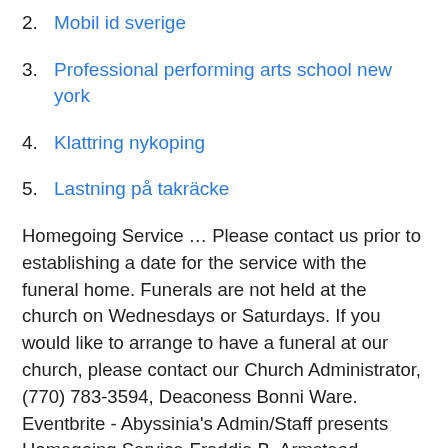2. Mobil id sverige
3. Professional performing arts school new york
4. Klattring nykoping
5. Lastning på takräcke
Homegoing Service … Please contact us prior to establishing a date for the service with the funeral home. Funerals are not held at the church on Wednesdays or Saturdays. If you would like to arrange to have a funeral at our church, please contact our Church Administrator, (770) 783-3594, Deaconess Bonni Ware. Eventbrite - Abyssinia's Admin/Staff presents Homegoing Service-Freddie B. Armstead - Saturday, March 27, 2021 at